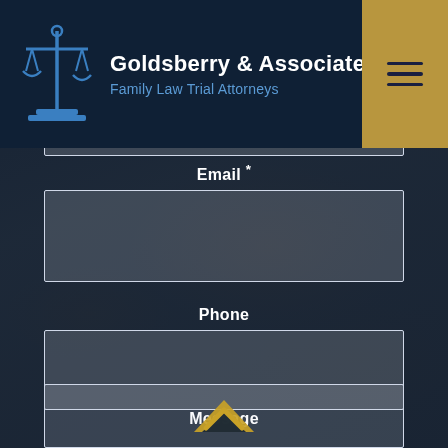[Figure (logo): Goldsberry & Associates PLLC logo with scales of justice icon, firm name, and tagline 'Family Law Trial Attorneys']
[Figure (screenshot): Contact form on a law firm website showing Email, Phone, and Message fields over a dark background photo of hands with pen]
Email *
Phone
Message